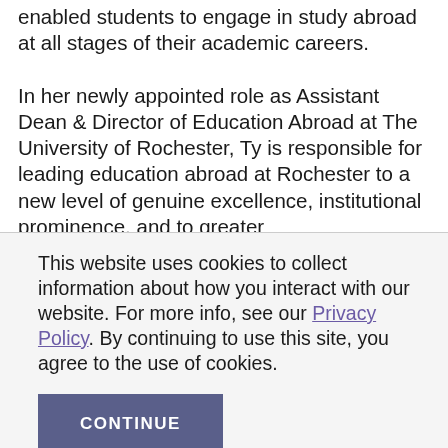enabled students to engage in study abroad at all stages of their academic careers.
In her newly appointed role as Assistant Dean & Director of Education Abroad at The University of Rochester, Ty is responsible for leading education abroad at Rochester to a new level of genuine excellence, institutional prominence, and to greater
This website uses cookies to collect information about how you interact with our website. For more info, see our Privacy Policy. By continuing to use this site, you agree to the use of cookies.
CONTINUE